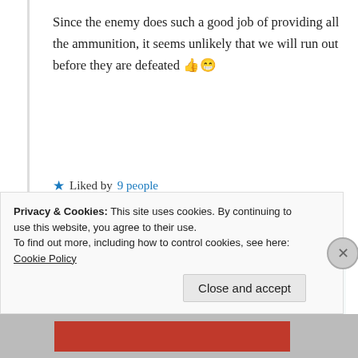Since the enemy does such a good job of providing all the ammunition, it seems unlikely that we will run out before they are defeated 👍😁
★ Liked by 9 people
↪ Reply
Wolf Moon
08/04/2021 @ 04:08 at 04:08
Privacy & Cookies: This site uses cookies. By continuing to use this website, you agree to their use.
To find out more, including how to control cookies, see here: Cookie Policy
Close and accept